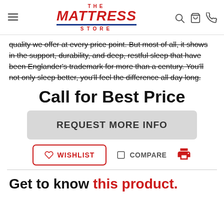The Mattress Store
quality we offer at every price point. But most of all, it shows in the support, durability, and deep, restful sleep that have been Englander's trademark for more than a century. You'll not only sleep better, you'll feel the difference all day long.
Call for Best Price
REQUEST MORE INFO
WISHLIST
COMPARE
Get to know this product.